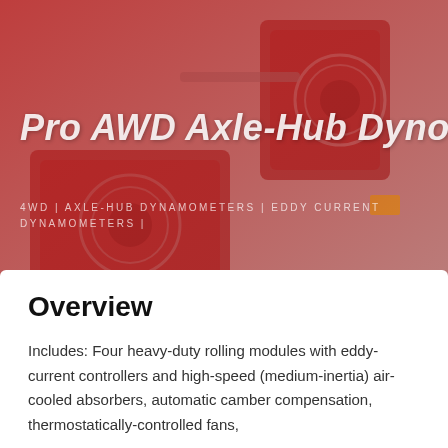[Figure (photo): Hero background photo of red AWD axle-hub dynamometer units on a surface, with a red color overlay tint.]
Pro AWD Axle-Hub Dyno
4WD | AXLE-HUB DYNAMOMETERS | EDDY CURRENT DYNAMOMETERS |
Overview
Includes: Four heavy-duty rolling modules with eddy-current controllers and high-speed (medium-inertia) air-cooled absorbers, automatic camber compensation, thermostatically-controlled fans,